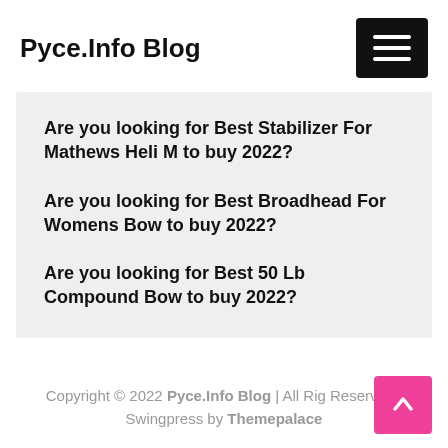Pyce.Info Blog
Are you looking for Best Stabilizer For Mathews Heli M to buy 2022?
Are you looking for Best Broadhead For Womens Bow to buy 2022?
Are you looking for Best 50 Lb Compound Bow to buy 2022?
Copyright © 2022 Pyce.Info Blog | All Rights Reserved | Swingpress by Themepalace